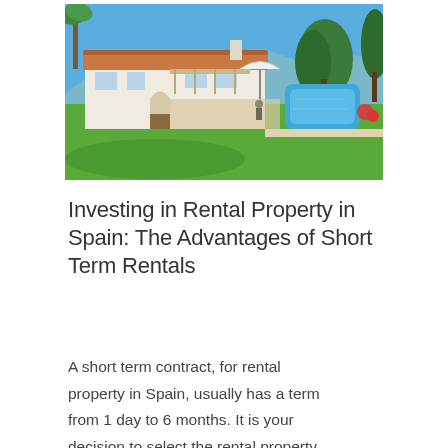[Figure (photo): Exterior photo of a Spanish villa with white walls, terracotta roof tiles, a large green lawn, swimming pool, and blue sky with trees in the background.]
Investing in Rental Property in Spain: The Advantages of Short Term Rentals
A short term contract, for rental property in Spain, usually has a term from 1 day to 6 months. It is your decision to select the rental property...